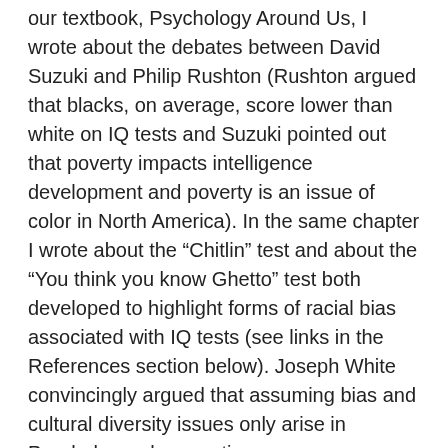our textbook, Psychology Around Us, I wrote about the debates between David Suzuki and Philip Rushton (Rushton argued that blacks, on average, score lower than white on IQ tests and Suzuki pointed out that poverty impacts intelligence development and poverty is an issue of color in North America). In the same chapter I wrote about the “Chitlin” test and about the “You think you know Ghetto” test both developed to highlight forms of racial bias associated with IQ tests (see links in the References section below). Joseph White convincingly argued that assuming bias and cultural diversity issues only arise in Psychology when exotic groups are considered meant that some large biases at the core of many psychological concepts and theories involving Blacks (or Hispanics or aboriginal people) are ignored and harm results. Think a bit about areas or theories in Psychology where this might be an issue and then read the obituary/article linked below to see a bit about what Joseph White had to say. You can also read the sections from Chapter 10 in our new edition of Psychology Around Us by downloading the